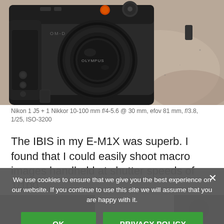[Figure (photo): Olympus OM-D E-M1X camera body with lens on a stone/granite surface, photographed close-up from above-left angle. Black camera body with grip, lens cap visible.]
Nikon 1 J5 + 1 Nikkor 10-100 mm f/4-5.6 @ 30 mm, efov 81 mm, f/3.8, 1/25, ISO-3200
The IBIS in my E-M1X was superb. I found that I could easily shoot macro images handheld at shutter speeds of 1/100 wh...
We use cookies to ensure that we give you the best experience on our website. If you continue to use this site we will assume that you are happy with it.
[Figure (photo): Partial bottom image visible behind cookie overlay — appears to be another camera-related photo, mostly obscured.]